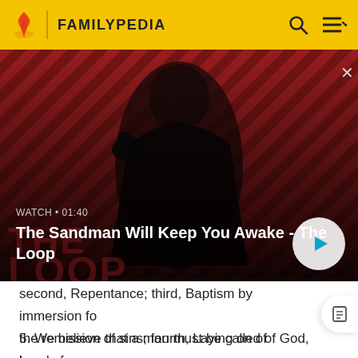FAMILYPEDIA
[Figure (screenshot): Video banner showing a dark-robed figure with a raven on shoulder against a red and black diagonal striped background. Text overlay: WATCH • 01:40 / The Sandman Will Keep You Awake - The Loop. Play button on right.]
second, Repentance; third, Baptism by immersion for the remission of sins; fourth, Laying on of hands for the gift of the Holy Ghost.
5. We believe that a man must be called of God, by prophecy, and by the laying on of hands by those who